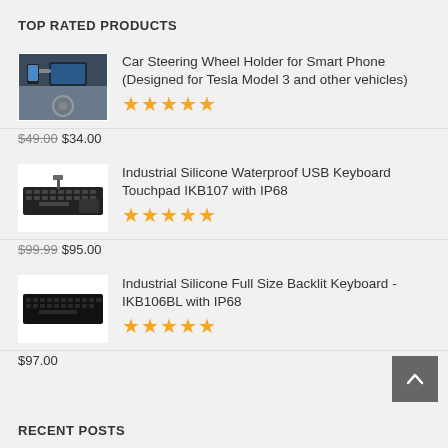TOP RATED PRODUCTS
[Figure (photo): Car steering wheel holder product thumbnail showing a phone holder mounted on a car dashboard]
Car Steering Wheel Holder for Smart Phone (Designed for Tesla Model 3 and other vehicles)
★★★★★
$49.00 $34.00
[Figure (photo): Industrial silicone waterproof USB keyboard with touchpad product thumbnail]
Industrial Silicone Waterproof USB Keyboard Touchpad IKB107 with IP68
★★★★★
$99.99 $95.00
[Figure (photo): Industrial silicone full size backlit keyboard product thumbnail]
Industrial Silicone Full Size Backlit Keyboard - IKB106BL with IP68
★★★★★
$97.00
RECENT POSTS